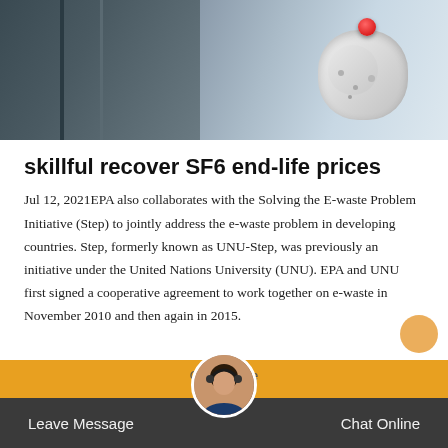[Figure (photo): Industrial machinery photo banner — left side shows dark metallic panels with vertical lines, right side shows white/grey mechanical equipment with a red indicator dot]
skillful recover SF6 end-life prices
Jul 12, 2021EPA also collaborates with the Solving the E-waste Problem Initiative (Step) to jointly address the e-waste problem in developing countries. Step, formerly known as UNU-Step, was previously an initiative under the United Nations University (UNU). EPA and UNU first signed a cooperative agreement to work together on e-waste in November 2010 and then again in 2015.
Leave Message   Chat Online